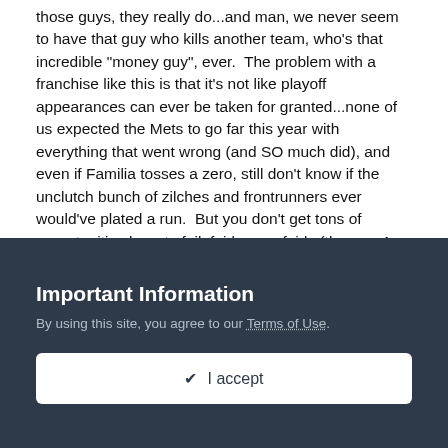those guys, they really do...and man, we never seem to have that guy who kills another team, who's that incredible "money guy", ever.  The problem with a franchise like this is that it's not like playoff appearances can ever be taken for granted...none of us expected the Mets to go far this year with everything that went wrong (and SO much did), and even if Familia tosses a zero, still don't know if the unclutch bunch of zilches and frontrunners ever would've plated a run.  But you don't get tons of opportunities here to fail, fairly or unfairly (the way A-Rod did before finally putting a good postseason together)...Familia has become Benitez in the eyes of many, and that means that every blown save is going to get, well, blown up, picked apart, shredded, etc.  He's already almost dead to a lot of Met fans for last night...he starts slow next season, and man will it get ugly for him.
Important Information
By using this site, you agree to our Terms of Use.
I accept